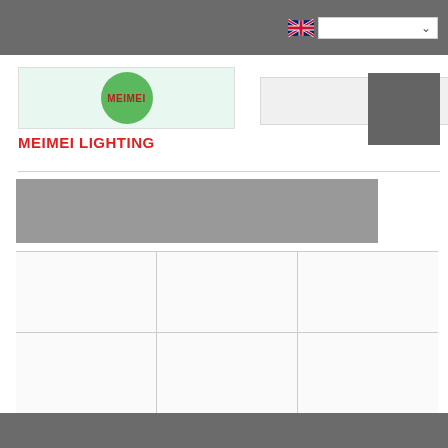Meimei Lighting website header with language selector
[Figure (logo): MEIMEI LIGHTING logo: green circle with MEIMEI text, below red bold text MEIMEI LIGHTING]
[Figure (other): Search bar input field]
[Figure (other): Dark grey cart/menu button]
[Figure (other): Category navigation tab bar in grey]
[Figure (other): Product grid with 3 columns and 3 rows, bottom-center cell is dark grey]
Website footer bar